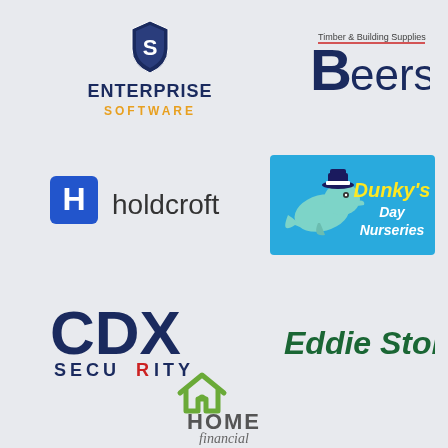[Figure (logo): Enterprise Software logo with shield icon, dark blue text ENTERPRISE and orange text SOFTWARE]
[Figure (logo): Beers Timber and Building Supplies logo with large B and text Beers, red underline]
[Figure (logo): Holdcroft logo with blue H icon and holdcroft text]
[Figure (logo): Dunky's Day Nurseries logo with blue background, dolphin wearing captain hat, yellow and white text]
[Figure (logo): CDX Security logo in dark navy blue with red I in SECURITY]
[Figure (logo): Eddie Stobart logo in dark green italic bold text]
[Figure (logo): Home Financial logo with green house icon outline and text HOME financial]